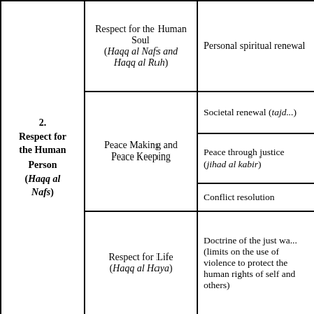| Category | Sub-category | Detail |
| --- | --- | --- |
|  | Respect for the Human Soul (Haqq al Nafs and Haqq al Ruh) | Personal spiritual renewal |
|  | Peace Making and Peace Keeping | Societal renewal (tajd...) |
|  | Peace Making and Peace Keeping | Peace through justice (jihad al kabir) |
|  | Peace Making and Peace Keeping | Conflict resolution |
| 2. Respect for the Human Person (Haqq al Nafs) | Respect for Life (Haqq al Haya) | Doctrine of the just wa... (limits on the use of violence to protect the human rights of self and others) |